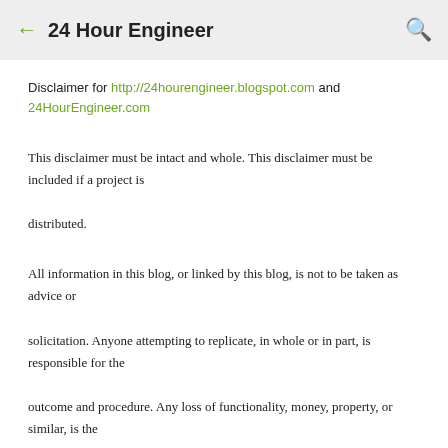← 24 Hour Engineer 🔍
Disclaimer for http://24hourengineer.blogspot.com and 24HourEngineer.com
This disclaimer must be intact and whole. This disclaimer must be included if a project is distributed.
All information in this blog, or linked by this blog, is not to be taken as advice or solicitation. Anyone attempting to replicate, in whole or in part, is responsible for the outcome and procedure. Any loss of functionality, money, property, or similar, is the responsibility of those involved in the replication.
All digital communication regarding the email address 24hourengineer@gmail.com